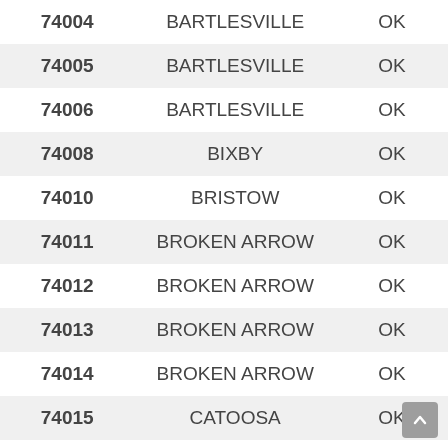| ZIP | CITY | STATE |
| --- | --- | --- |
| 74004 | BARTLESVILLE | OK |
| 74005 | BARTLESVILLE | OK |
| 74006 | BARTLESVILLE | OK |
| 74008 | BIXBY | OK |
| 74010 | BRISTOW | OK |
| 74011 | BROKEN ARROW | OK |
| 74012 | BROKEN ARROW | OK |
| 74013 | BROKEN ARROW | OK |
| 74014 | BROKEN ARROW | OK |
| 74015 | CATOOSA | OK |
| 74016 | CHELSEA | OK |